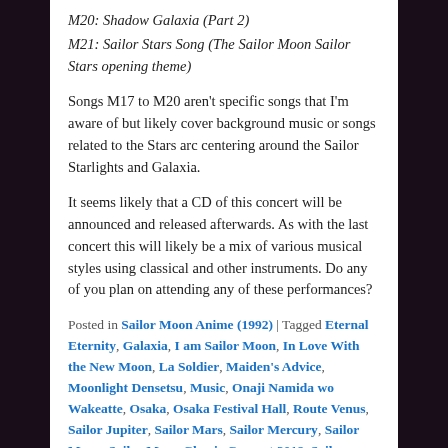M20: Shadow Galaxia (Part 2)
M21: Sailor Stars Song (The Sailor Moon Sailor Stars opening theme)
Songs M17 to M20 aren't specific songs that I'm aware of but likely cover background music or songs related to the Stars arc centering around the Sailor Starlights and Galaxia.
It seems likely that a CD of this concert will be announced and released afterwards. As with the last concert this will likely be a mix of various musical styles using classical and other instruments. Do any of you plan on attending any of these performances?
Posted in Sailor Moon Anime (1992) | Tagged Eternal Eternity, Galaxia, I am Sailor Moon, In Love With the New Moon, La Soldier, Maiden's Advice, Moonlight Densetsu, Music, Onaji Namida wo Wakeatte, Osaka, Osaka Festival Hall, Route Venus, Sailor Jupiter, Sailor Mars, Sailor Mercury, Sailor Moon, Sailor Moon Classic Concert 2018, Sailor Neptune, Sailor Starlights, Sailor Stars Song, Sailor Uranus, Sailor Venus, Sei Hi Ai ~ Fire Soul Love ~,